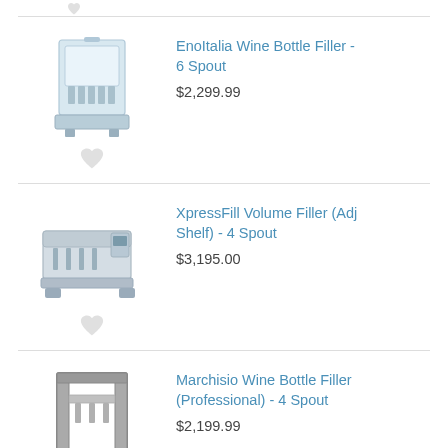[Figure (photo): EnoItalia Wine Bottle Filler 6 Spout machine product photo]
EnoItalia Wine Bottle Filler - 6 Spout
$2,299.99
[Figure (photo): XpressFill Volume Filler (Adj Shelf) 4 Spout machine product photo]
XpressFill Volume Filler (Adj Shelf) - 4 Spout
$3,195.00
[Figure (photo): Marchisio Wine Bottle Filler (Professional) 4 Spout machine product photo]
Marchisio Wine Bottle Filler (Professional) - 4 Spout
$2,199.99